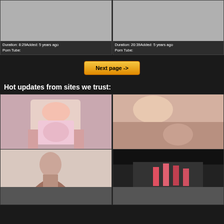[Figure (photo): Video thumbnail placeholder gray, left]
Duration: 8:29Added: 5 years ago
Porn Tube:
[Figure (photo): Video thumbnail placeholder gray, right]
Duration: 20:39Added: 5 years ago
Porn Tube:
Next page ->
Hot updates from sites we trust:
[Figure (photo): Woman in pink dress sitting on bed]
[Figure (photo): Close-up explicit adult content]
[Figure (photo): Dark-haired woman]
[Figure (photo): Person in colorful room]